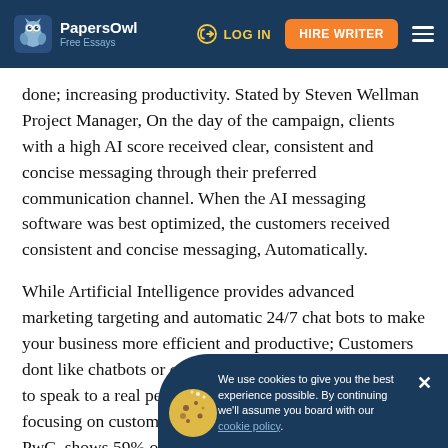PapersOwl Free Essays | LOG IN | HIRE WRITER
done; increasing productivity. Stated by Steven Wellman Project Manager, On the day of the campaign, clients with a high AI score received clear, consistent and concise messaging through their preferred communication channel. When the AI messaging software was best optimized, the customers received consistent and concise messaging, Automatically.
While Artificial Intelligence provides advanced marketing targeting and automatic 24/7 chat bots to make your business more efficient and productive; Customers dont like chatbots or computers on the phone, and prefer to speak to a real person. Stated by Price, D, The study, focusing on customer experience and commissioned by PwC, shows 59% of customers globally (and 64% in the U.S.) feel brands are so myopic about automation and trendy design, they've "lost touch" with the human element of creating... Customer experience matters. 60% of consumers say they i